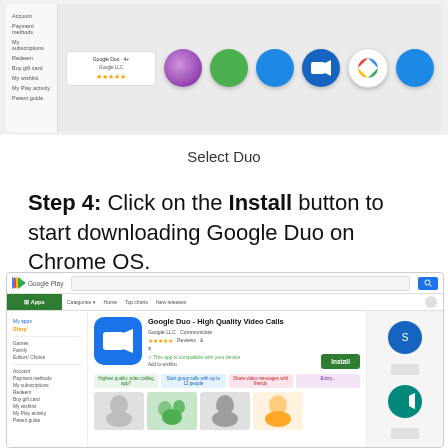[Figure (screenshot): Google Play Store screenshot showing app icons including Google Duo and other apps in a grid/list view]
Select Duo
Step 4: Click on the Install button to start downloading Google Duo on Chrome OS.
[Figure (screenshot): Google Play Store page for Google Duo - High Quality Video Calls app, showing the Install button in green]